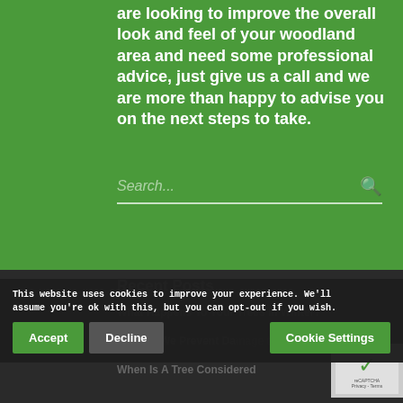are looking to improve the overall look and feel of your woodland area and need some professional advice, just give us a call and we are more than happy to advise you on the next steps to take.
Search...
Recent Posts
What Happens To Your Trees In Winter?
How Do We Prevent Damage To...
When Is A Tree Considered
This website uses cookies to improve your experience. We'll assume you're ok with this, but you can opt-out if you wish.